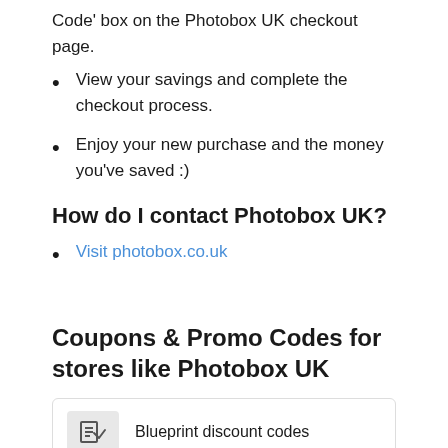Code' box on the Photobox UK checkout page.
View your savings and complete the checkout process.
Enjoy your new purchase and the money you've saved :)
How do I contact Photobox UK?
Visit photobox.co.uk
Coupons & Promo Codes for stores like Photobox UK
Blueprint discount codes